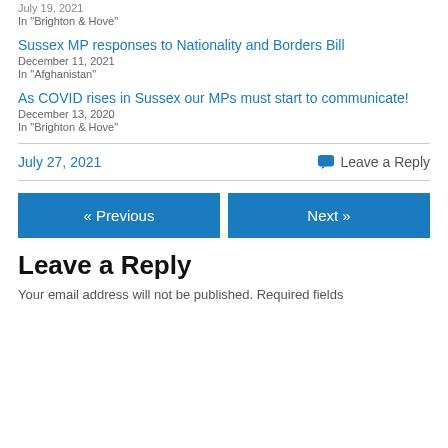July 19, 2021
In "Brighton & Hove"
Sussex MP responses to Nationality and Borders Bill
December 11, 2021
In "Afghanistan"
As COVID rises in Sussex our MPs must start to communicate!
December 13, 2020
In "Brighton & Hove"
July 27, 2021    Leave a Reply
« Previous    Next »
Leave a Reply
Your email address will not be published. Required fields